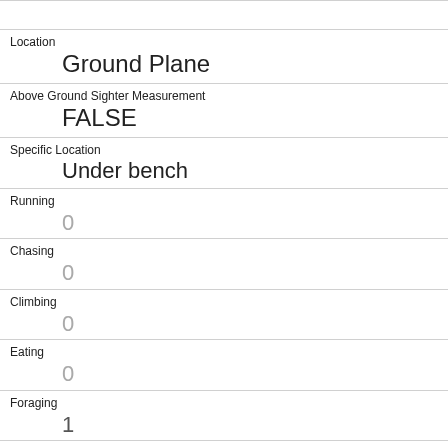Location
Ground Plane
Above Ground Sighter Measurement
FALSE
Specific Location
Under bench
Running
0
Chasing
0
Climbing
0
Eating
0
Foraging
1
Other Activities
Kuks